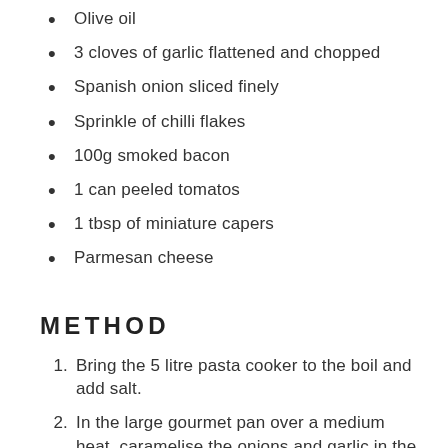Olive oil
3 cloves of garlic flattened and chopped
Spanish onion sliced finely
Sprinkle of chilli flakes
100g smoked bacon
1 can peeled tomatos
1 tbsp of miniature capers
Parmesan cheese
METHOD
Bring the 5 litre pasta cooker to the boil and add salt.
In the large gourmet pan over a medium heat, caramelise the onions and garlic in the olive oil.